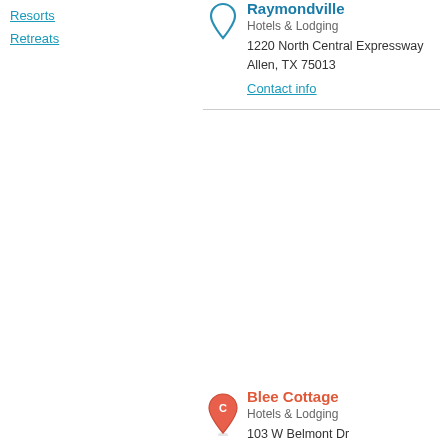Resorts
Retreats
Raymondville
Hotels & Lodging
1220 North Central Expressway
Allen, TX 75013
Contact info
Blee Cottage
Hotels & Lodging
103 W Belmont Dr